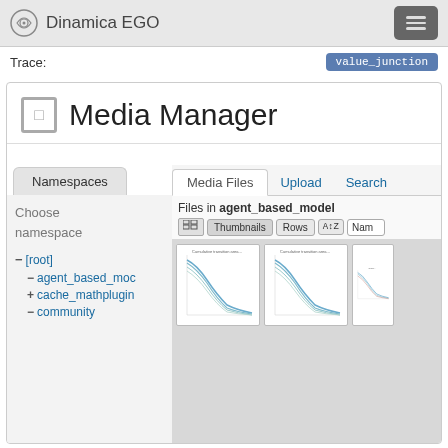Dinamica EGO
Trace:
value_junction
Media Manager
Namespaces
Media Files  Upload  Search
Files in agent_based_model
Thumbnails  Rows  Name
Choose namespace
- [root]
- agent_based_mod
+ cache_mathplugin
- community
[Figure (line-chart): Line chart thumbnail showing declining curves]
[Figure (line-chart): Line chart thumbnail showing declining curves]
[Figure (line-chart): Partially visible line chart thumbnail]